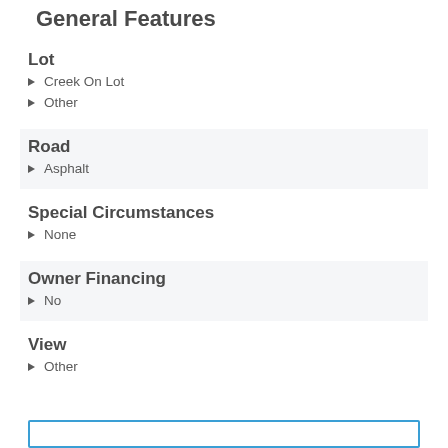General Features
Lot
Creek On Lot
Other
Road
Asphalt
Special Circumstances
None
Owner Financing
No
View
Other